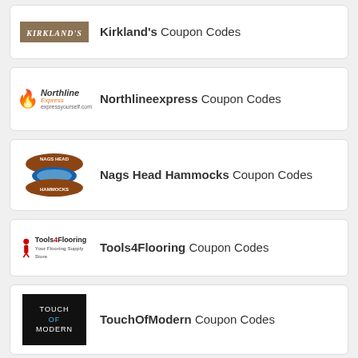[Figure (logo): Kirkland's store logo - brown background with white italic text]
Kirkland's Coupon Codes
[Figure (logo): Northline Express logo with orange flame icon]
Northlineexpress Coupon Codes
[Figure (logo): Nags Head Hammocks logo - oval shaped with brown and blue colors]
Nags Head Hammocks Coupon Codes
[Figure (logo): Tools4Flooring logo with red person icon]
Tools4Flooring Coupon Codes
[Figure (logo): Touch of Modern logo - black background with white and blue text]
TouchOfModern Coupon Codes